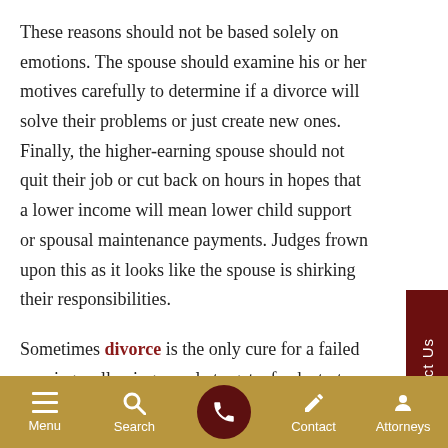These reasons should not be based solely on emotions. The spouse should examine his or her motives carefully to determine if a divorce will solve their problems or just create new ones. Finally, the higher-earning spouse should not quit their job or cut back on hours in hopes that a lower income will mean lower child support or spousal maintenance payments. Judges frown upon this as it looks like the spouse is shirking their responsibilities.
Sometimes divorce is the only cure for a failed marriage, allowing people to get a fresh start on life. Planning ahead contributes to this effort. A family law or divorce attorney may be able to assist one spouse by advocating for their rights,
Menu  Search  Contact  Attorneys